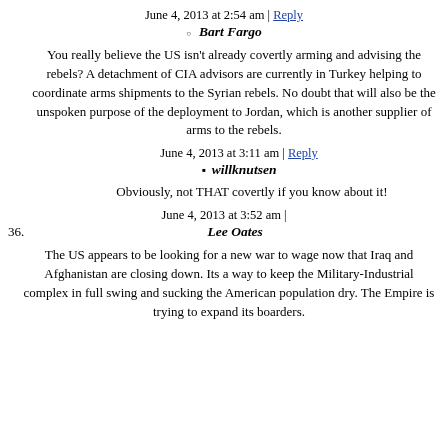June 4, 2013 at 2:54 am | Reply
Bart Fargo
You really believe the US isn't already covertly arming and advising the rebels? A detachment of CIA advisors are currently in Turkey helping to coordinate arms shipments to the Syrian rebels. No doubt that will also be the unspoken purpose of the deployment to Jordan, which is another supplier of arms to the rebels.
June 4, 2013 at 3:11 am | Reply
willknutsen
Obviously, not THAT covertly if you know about it!
June 4, 2013 at 3:52 am |
Lee Oates
The US appears to be looking for a new war to wage now that Iraq and Afghanistan are closing down. Its a way to keep the Military-Industrial complex in full swing and sucking the American population dry. The Empire is trying to expand its boarders.